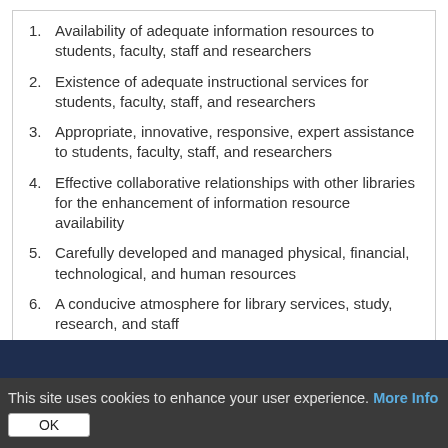Availability of adequate information resources to students, faculty, staff and researchers
Existence of adequate instructional services for students, faculty, staff, and researchers
Appropriate, innovative, responsive, expert assistance to students, faculty, staff, and researchers
Effective collaborative relationships with other libraries for the enhancement of information resource availability
Carefully developed and managed physical, financial, technological, and human resources
A conducive atmosphere for library services, study, research, and staff
This site uses cookies to enhance your user experience. More Info OK